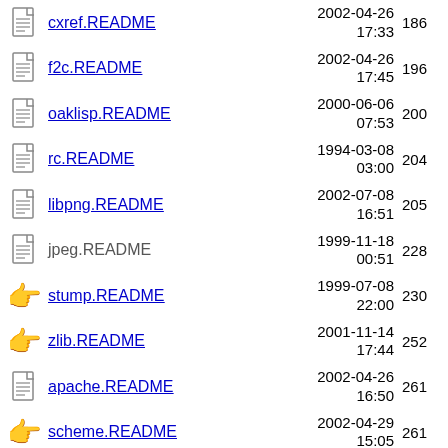cxref.README  2002-04-26 17:33  186
f2c.README  2002-04-26 17:45  196
oaklisp.README  2000-06-06 07:53  200
rc.README  1994-03-08 03:00  204
libpng.README  2002-07-08 16:51  205
jpeg.README  1999-11-18 00:51  228
stump.README  1999-07-08 22:00  230
zlib.README  2001-11-14 17:44  252
apache.README  2002-04-26 16:50  261
scheme.README  2002-04-29 15:05  261
wn.README  1998-12-01 20:27  275
[partial]  2002-04-29  ...